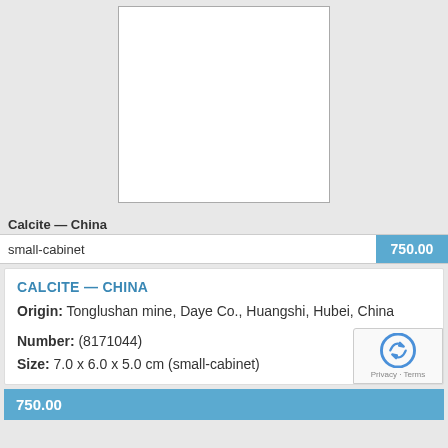[Figure (photo): White empty image placeholder box with thin gray border, centered on gray background]
Calcite — China
| small-cabinet | 750.00 |
| --- | --- |
CALCITE — CHINA
Origin: Tonglushan mine, Daye Co., Huangshi, Hubei, China
Number: (8171044)
Size: 7.0 x 6.0 x 5.0 cm (small-cabinet)
750.00